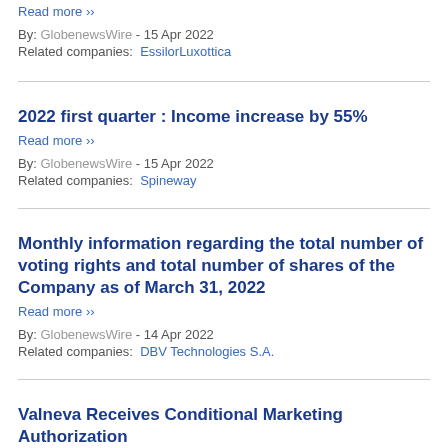Read more ›› By: GlobenewsWire - 15 Apr 2022 Related companies: EssilorLuxottica
2022 first quarter : Income increase by 55%
Read more »
By: GlobenewsWire - 15 Apr 2022 Related companies: Spineway
Monthly information regarding the total number of voting rights and total number of shares of the Company as of March 31, 2022
Read more »
By: GlobenewsWire - 14 Apr 2022 Related companies: DBV Technologies S.A.
Valneva Receives Conditional Marketing Authorization